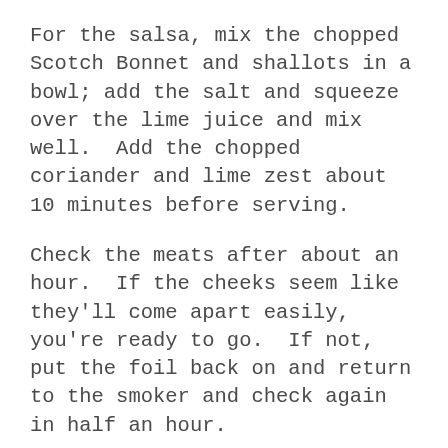For the salsa, mix the chopped Scotch Bonnet and shallots in a bowl; add the salt and squeeze over the lime juice and mix well.  Add the chopped coriander and lime zest about 10 minutes before serving.
Check the meats after about an hour.  If the cheeks seem like they'll come apart easily, you're ready to go.  If not, put the foil back on and return to the smoker and check again in half an hour.
When the meat is ready, remove it from the tray and place in a warmed bowl and cover to rest while you deal with the sauce.
Pour the braising liquid through a sieve, into a saucepan, making sure you get any nice gooey bits from the bottom of the foil